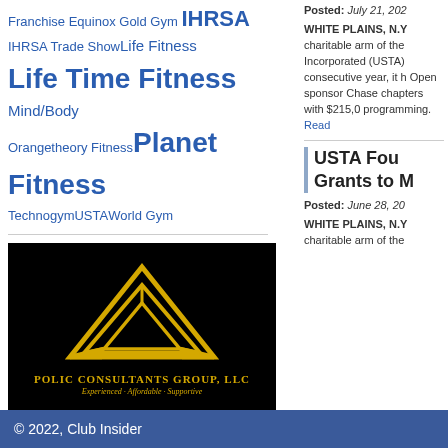Franchise Equinox Gold Gym IHRSA IHRSA Trade Show Life Fitness Life Time Fitness Mind/Body Orangetheory Fitness Planet Fitness Technogym USTA World Gym
[Figure (logo): Polic Consultants Group LLC logo - yellow geometric triangular mountain shapes on black background with text 'POLIC CONSULTANTS GROUP, LLC' and tagline 'Experienced - Affordable - Supportive']
Posted: July 21, 202...
WHITE PLAINS, N.Y... charitable arm of the... Incorporated (USTA)... consecutive year, it h... Open sponsor Chase... chapters with $215,0... programming. Read...
USTA Fou... Grants to M...
Posted: June 28, 20...
WHITE PLAINS, N.Y... charitable arm of the...
© 2022, Club Insider